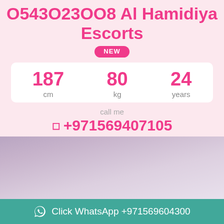O543O23OO8 Al Hamidiya Escorts
NEW
|  |  |  |
| --- | --- | --- |
| 187 | 80 | 24 |
| cm | kg | years |
call me
+971569407105
[Figure (photo): Partial selfie photo of a person in a light background]
Click WhatsApp +971569604300